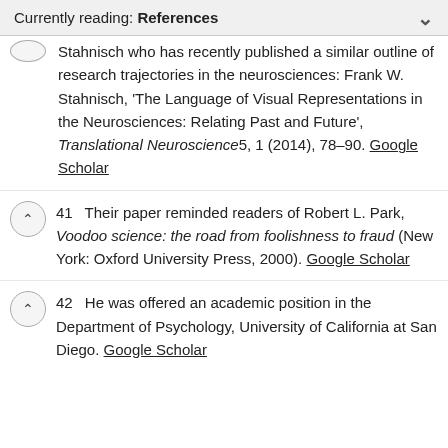Currently reading: References
Stahnisch who has recently published a similar outline of research trajectories in the neurosciences: Frank W. Stahnisch, 'The Language of Visual Representations in the Neurosciences: Relating Past and Future', Translational Neuroscience5, 1 (2014), 78–90. Google Scholar
41  Their paper reminded readers of Robert L. Park, Voodoo science: the road from foolishness to fraud (New York: Oxford University Press, 2000). Google Scholar
42  He was offered an academic position in the Department of Psychology, University of California at San Diego. Google Scholar